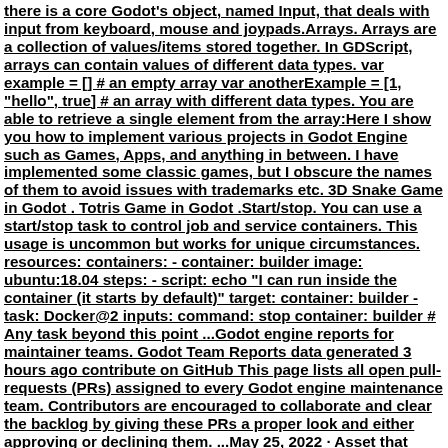there is a core Godot's object, named Input, that deals with input from keyboard, mouse and joypads.Arrays. Arrays are a collection of values/items stored together. In GDScript, arrays can contain values of different data types. var example = [] # an empty array var anotherExample = [1, "hello", true] # an array with different data types. You are able to retrieve a single element from the array:Here I show you how to implement various projects in Godot Engine such as Games, Apps, and anything in between. I have implemented some classic games, but I obscure the names of them to avoid issues with trademarks etc. 3D Snake Game in Godot . Totris Game in Godot .Start/stop. You can use a start/stop task to control job and service containers. This usage is uncommon but works for unique circumstances. resources: containers: - container: builder image: ubuntu:18.04 steps: - script: echo "I can run inside the container (it starts by default)" target: container: builder - task: Docker@2 inputs: command: stop container: builder # Any task beyond this point ...Godot engine reports for maintainer teams. Godot Team Reports data generated 3 hours ago contribute on GitHub This page lists all open pull-requests (PRs) assigned to every Godot engine maintenance team. Contributors are encouraged to collaborate and clear the backlog by giving these PRs a proper look and either approving or declining them. ...May 25, 2022 · Asset that improves touch input support (includes new gestures) in the Godot game engine. It also translates mouse input to touch